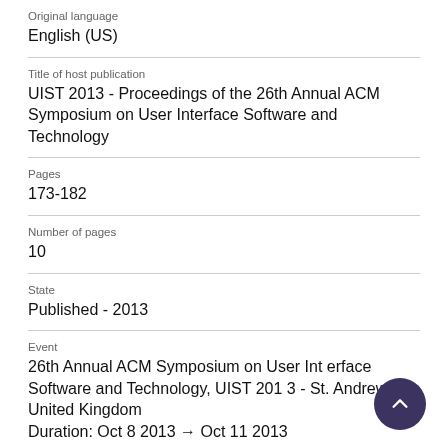Original language
English (US)
Title of host publication
UIST 2013 - Proceedings of the 26th Annual ACM Symposium on User Interface Software and Technology
Pages
173-182
Number of pages
10
State
Published - 2013
Event
26th Annual ACM Symposium on User Interface Software and Technology, UIST 2013 - St. Andrews, United Kingdom
Duration: Oct 8 2013 → Oct 11 2013